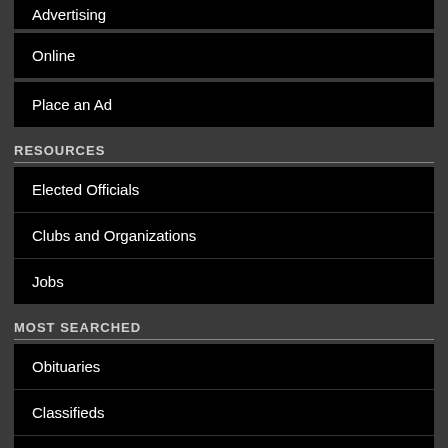Advertising
Online
Place an Ad
RESOURCES
Elected Officials
Clubs and Organizations
Jobs
MOST SEARCHED
Obituaries
Classifieds
Find a Business